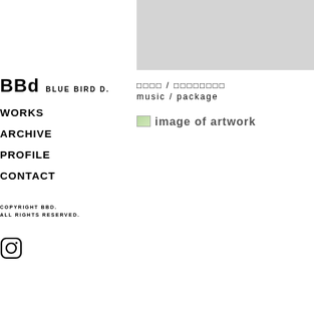[Figure (photo): Gray textured hero image at top right of page]
BBd BLUE BIRD d.
WORKS
ARCHIVE
PROFILE
CONTACT
COPYRIGHT BBd.
ALL RIGHTS RESERVED.
[Figure (logo): Instagram icon (rounded square with circle)]
□□□□ / □□□□□□□□
music / package
[Figure (photo): image of artwork]